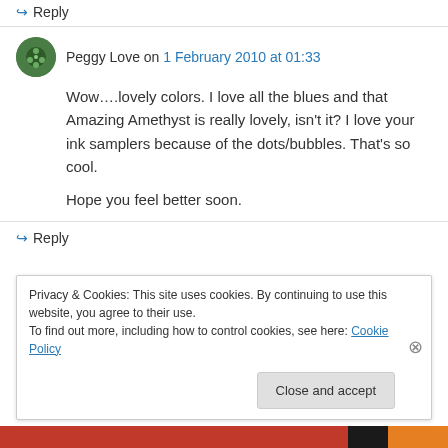↪ Reply
Peggy Love on 1 February 2010 at 01:33
Wow….lovely colors. I love all the blues and that Amazing Amethyst is really lovely, isn't it? I love your ink samplers because of the dots/bubbles. That's so cool.

Hope you feel better soon.
↪ Reply
Privacy & Cookies: This site uses cookies. By continuing to use this website, you agree to their use.
To find out more, including how to control cookies, see here: Cookie Policy